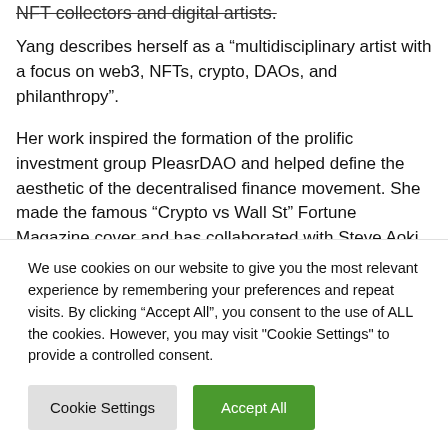NFT collectors and digital artists.
Yang describes herself as a “multidisciplinary artist with a focus on web3, NFTs, crypto, DAOs, and philanthropy”.
Her work inspired the formation of the prolific investment group PleasrDAO and helped define the aesthetic of the decentralised finance movement. She made the famous “Crypto vs Wall St” Fortune Magazine cover and has collaborated with Steve Aoki and Sotheby’s to launched a fund to support upcoming female artists.
We use cookies on our website to give you the most relevant experience by remembering your preferences and repeat visits. By clicking “Accept All”, you consent to the use of ALL the cookies. However, you may visit "Cookie Settings" to provide a controlled consent.